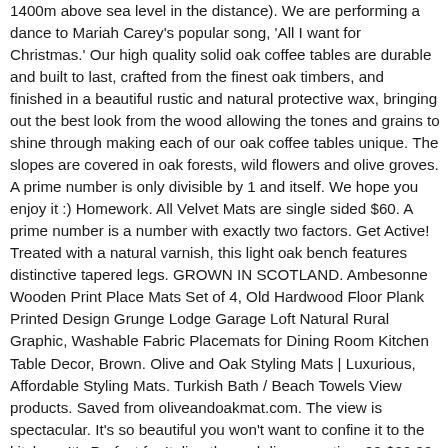1400m above sea level in the distance). We are performing a dance to Mariah Carey's popular song, 'All I want for Christmas.' Our high quality solid oak coffee tables are durable and built to last, crafted from the finest oak timbers, and finished in a beautiful rustic and natural protective wax, bringing out the best look from the wood allowing the tones and grains to shine through making each of our oak coffee tables unique. The slopes are covered in oak forests, wild flowers and olive groves. A prime number is only divisible by 1 and itself. We hope you enjoy it :) Homework. All Velvet Mats are single sided $60. A prime number is a number with exactly two factors. Get Active! Treated with a natural varnish, this light oak bench features distinctive tapered legs. GROWN IN SCOTLAND. Ambesonne Wooden Print Place Mats Set of 4, Old Hardwood Floor Plank Printed Design Grunge Lodge Garage Loft Natural Rural Graphic, Washable Fabric Placemats for Dining Room Kitchen Table Decor, Brown. Olive and Oak Styling Mats | Luxurious, Affordable Styling Mats. Turkish Bath / Beach Towels View products. Saved from oliveandoakmat.com. The view is spectacular. It's so beautiful you won't want to confine it to the kitchen -It's Perfect for Italian themed dinner parties. 90 $29.99 $29.99. Get active! Today, the stacked mats are pressed in a motorised steel vice, forcing the oil to exude in golden rivulets, which are drained into barrels or tins. Our latest discount code was discovered on November 25, 2020. Perfection. Sipping an oak cask-aged spirit from a genuine charred oak tumbler? Pass the beautiful cheese grater set around your guests to allow them to grate there own fresh parmesan onto their dish. Inspiration. Cotton canopy with wooden frame for children to play, read and